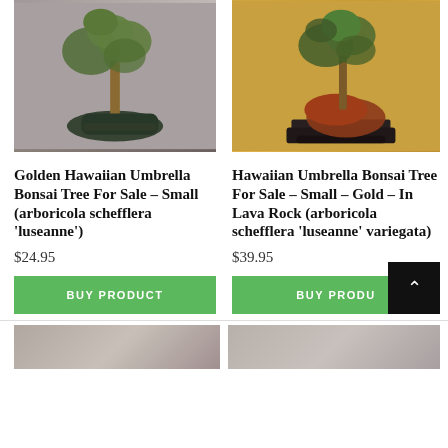[Figure (photo): Golden Hawaiian Umbrella Bonsai Tree in a round dark pot on gray background]
[Figure (photo): Hawaiian Umbrella Bonsai Tree on lava rock on a black tray, warm yellow background]
Golden Hawaiian Umbrella Bonsai Tree For Sale – Small (arboricola schefflera 'luseanne')
Hawaiian Umbrella Bonsai Tree For Sale – Small – Gold – In Lava Rock (arboricola schefflera 'luseanne' variegata)
$24.95
$39.95
BUY PRODUCT
BUY PRODUCT
[Figure (photo): Bottom partial product image left]
[Figure (photo): Bottom partial product image right]